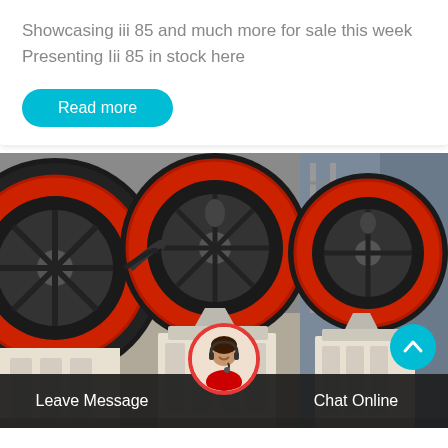Showcasing iii 85 and much more for sale this week
Presenting Iii 85 in stock here
Read more
[Figure (photo): Industrial jaw crusher machines with large red and black flywheels, white body frames, in a factory setting]
Leave Message
Chat Online